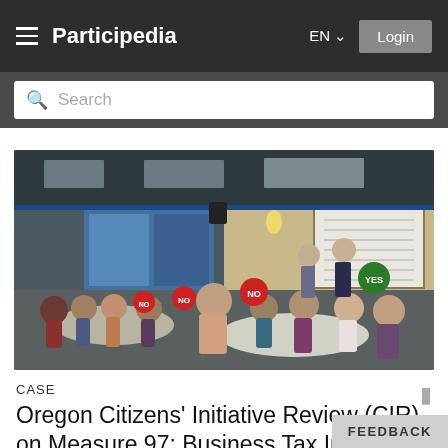Participedia  EN  Login
Search
[Figure (photo): A meeting room scene where people seated at round tables hold YES and NO signs, with two presenters standing at the front near a whiteboard. The room has large windows and ceiling lights.]
CASE
Oregon Citizens' Initiative Review (CIR) on Measure 97: Business Tax Increa…